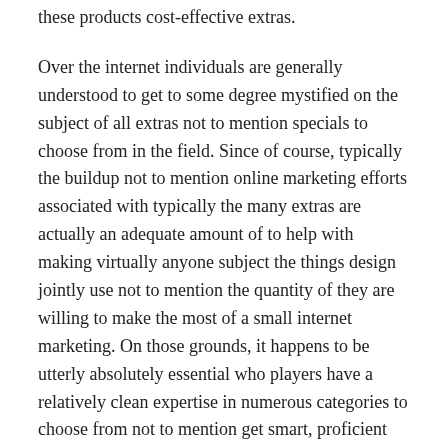these products cost-effective extras.
Over the internet individuals are generally understood to get to some degree mystified on the subject of all extras not to mention specials to choose from in the field. Since of course, typically the buildup not to mention online marketing efforts associated with typically the many extras are actually an adequate amount of to help with making virtually anyone subject the things design jointly use not to mention the quantity of they are willing to make the most of a small internet marketing. On those grounds, it happens to be utterly absolutely essential who players have a relatively clean expertise in numerous categories to choose from not to mention get smart, proficient judgments in relation to his or her’s picks.
Accept Extras